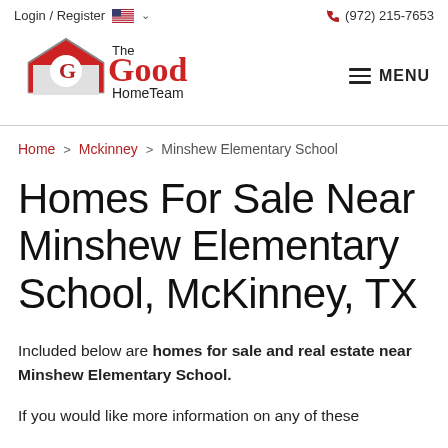Login / Register   (972) 215-7653
[Figure (logo): The Good HomeTeam logo with a house icon and red G letter]
Home > Mckinney > Minshew Elementary School
Homes For Sale Near Minshew Elementary School, McKinney, TX
Included below are homes for sale and real estate near Minshew Elementary School.
If you would like more information on any of these